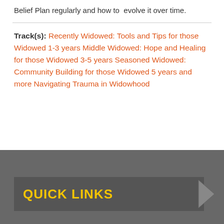Belief Plan regularly and how to evolve it over time.
Track(s): Recently Widowed: Tools and Tips for those Widowed 1-3 years Middle Widowed: Hope and Healing for those Widowed 3-5 years Seasoned Widowed: Community Building for those Widowed 5 years and more Navigating Trauma in Widowhood
Quick Links